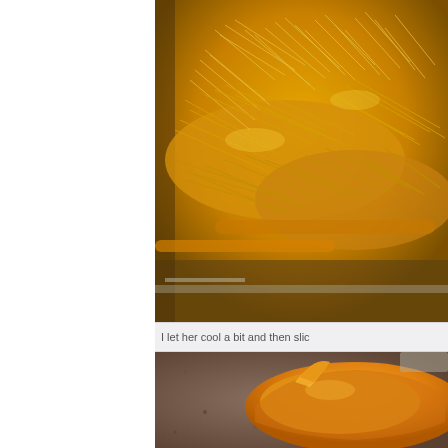[Figure (photo): Close-up photo of cooked spaghetti squash showing bright yellow stringy fibrous interior strands pulled from the squash halves on a baking sheet.]
I let her cool a bit and then slic
[Figure (photo): Photo of an orange/yellow cooked squash half on a granite countertop showing the flesh being scooped or peeled.]